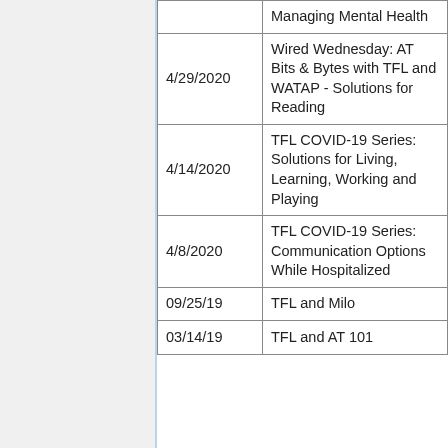| Date | Title | Audio |  |
| --- | --- | --- | --- |
|  | Managing Mental Health | Audio |  |
| 4/29/2020 | Wired Wednesday: AT Bits & Bytes with TFL and WATAP - Solutions for Reading | Audio |  |
| 4/14/2020 | TFL COVID-19 Series: Solutions for Living, Learning, Working and Playing | Audio |  |
| 4/8/2020 | TFL COVID-19 Series: Communication Options While Hospitalized | Audio |  |
| 09/25/19 | TFL and Milo | Audio |  |
| 03/14/19 | TFL and AT 101 | Audio |  |